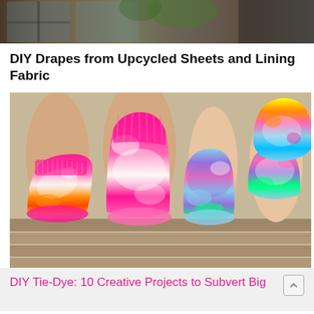[Figure (photo): Partial top image showing a wooden door or furniture in dim indoor setting, cropped at top of page]
DIY Drapes from Upcycled Sheets and Lining Fabric
[Figure (photo): Photo of multiple pairs of legs wearing colorful tie-dye socks in pink, blue, purple, yellow, and green patterns, sitting on wooden bench steps outdoors]
DIY Tie-Dye: 10 Creative Projects to Subvert Big